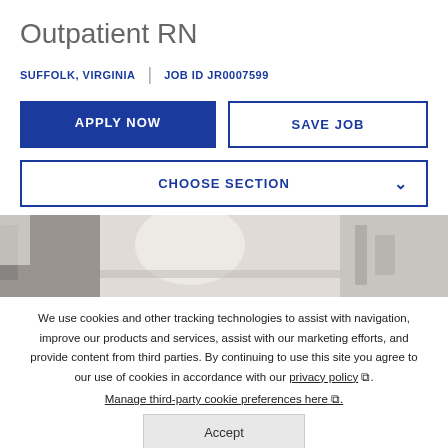Outpatient RN
SUFFOLK, VIRGINIA  |  JOB ID JR0007599
APPLY NOW
SAVE JOB
CHOOSE SECTION
[Figure (photo): Healthcare worker in white coat in a clinical/lab setting]
We use cookies and other tracking technologies to assist with navigation, improve our products and services, assist with our marketing efforts, and provide content from third parties. By continuing to use this site you agree to our use of cookies in accordance with our privacy policy. Manage third-party cookie preferences here.
Accept